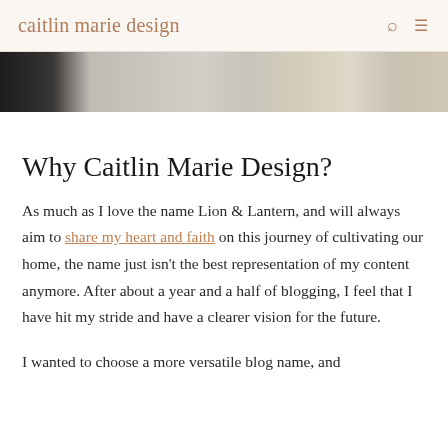caitlin marie design
[Figure (photo): Partial view of a room interior showing furniture and a woven/rattan decorative item, cropped at the top of the page]
Why Caitlin Marie Design?
As much as I love the name Lion & Lantern, and will always aim to share my heart and faith on this journey of cultivating our home, the name just isn't the best representation of my content anymore. After about a year and a half of blogging, I feel that I have hit my stride and have a clearer vision for the future.
I wanted to choose a more versatile blog name, and